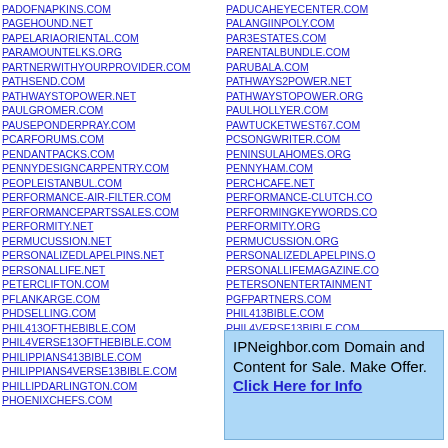PADOFNAPKINS.COM
PAGEHOUND.NET
PAPELARIAORIENTAL.COM
PARAMOUNTELKS.ORG
PARTNERWITHYOURPROVIDER.COM
PATHSEND.COM
PATHWAYSTOPOWER.NET
PAULGROMER.COM
PAUSEPONDERPRAY.COM
PCARFORUMS.COM
PENDANTPACKS.COM
PENNYDESIGNCARPENTRY.COM
PEOPLEISTANBUL.COM
PERFORMANCE-AIR-FILTER.COM
PERFORMANCEPARTSSALES.COM
PERFORMITY.NET
PERMUCUSSION.NET
PERSONALIZEDLAPELPINS.NET
PERSONALLIFE.NET
PETERCLIFTON.COM
PFLANKARGE.COM
PHDSELLING.COM
PHIL413OFTHEBIBLE.COM
PHIL4VERSE13OFTHEBIBLE.COM
PHILIPPIANS413BIBLE.COM
PHILIPPIANS4VERSE13BIBLE.COM
PHILLIPDARLINGTON.COM
PHOENIXCHEFS.COM
PADUCAHEYECENTER.COM
PALANGIINPOLY.COM
PAR3ESTATES.COM
PARENTALBUNDLE.COM
PARUBALA.COM
PATHWAYS2POWER.NET
PATHWAYSTOPOWER.ORG
PAULHOLLYER.COM
PAWTUCKETWEST67.COM
PCSONGWRITER.COM
PENINSULAHOMES.ORG
PENNYHAM.COM
PERCHCAFE.NET
PERFORMANCE-CLUTCH.CO
PERFORMINGKEYWORDS.CO
PERFORMITY.ORG
PERMUCUSSION.ORG
PERSONALIZEDLAPELPINS.O
PERSONALLIFEMAGAZINE.CO
PETERSONENTERTAINMENT
PGFPARTNERS.COM
PHIL413BIBLE.COM
PHIL4VERSE13BIBLE.COM
IPNeighbor.com Domain and Content for Sale. Make Offer. Click Here for Info